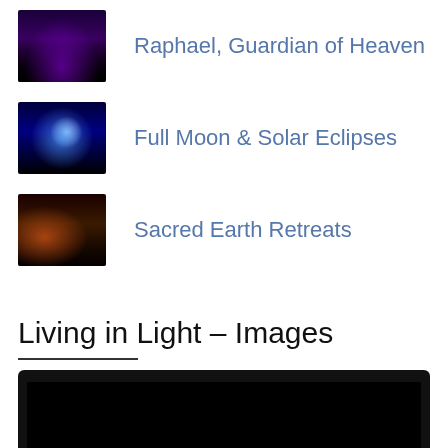Raphael, Guardian of Heaven
Full Moon & Solar Eclipses
Sacred Earth Retreats
Living in Light – Images
[Figure (screenshot): Bottom edge of a laptop/screen showing a dark/black display area with dark border frame]